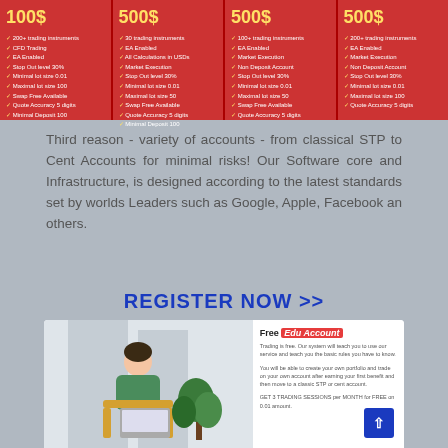[Figure (infographic): Four trading account tiers displayed as red columns with prices in yellow and feature lists in white text with checkmarks. Columns appear to be: 100$, 500$, 500$, 500$ (or similar pricing tiers) with features like trading instruments, EA enabled, Market Execution, Non Deposit Account, Stop Out level, minimal/maximal lot size, Swap Free, Quote Accuracy, Minimal Deposit.]
Third reason - variety of accounts - from classical STP to Cent Accounts for minimal risks! Our Software core and Infrastructure, is designed according to the latest standards set by worlds Leaders such as Google, Apple, Facebook an others.
REGISTER NOW >>
[Figure (illustration): Illustration of a person sitting in a chair working on a laptop with a plant nearby. To the right is a 'Free Edu Account' panel with text describing the educational account offering.]